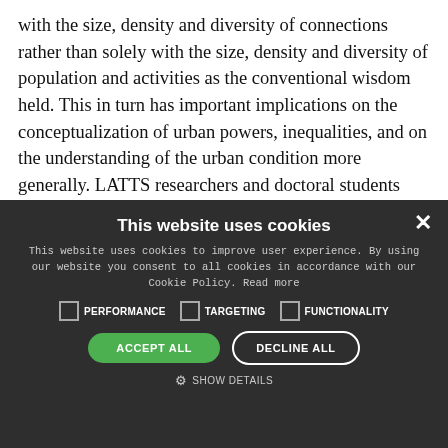with the size, density and diversity of connections rather than solely with the size, density and diversity of population and activities as the conventional wisdom held. This in turn has important implications on the conceptualization of urban powers, inequalities, and on the understanding of the urban condition more generally. LATTS researchers and doctoral students have contributed to the debate raised by the very influential splintering urbanism thesis (Graham and Marvin 2001), challenging its over-generalizing character, and
[Figure (screenshot): Cookie consent popup on a dark background with options for Performance, Targeting, and Functionality checkboxes, Accept All (green button) and Decline All buttons, and a Show Details link.]